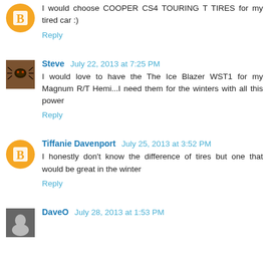I would choose COOPER CS4 TOURING T TIRES for my tired car :)
Reply
Steve  July 22, 2013 at 7:25 PM
I would love to have the The Ice Blazer WST1 for my Magnum R/T Hemi...I need them for the winters with all this power
Reply
Tiffanie Davenport  July 25, 2013 at 3:52 PM
I honestly don't know the difference of tires but one that would be great in the winter
Reply
DaveO  July 28, 2013 at 1:53 PM